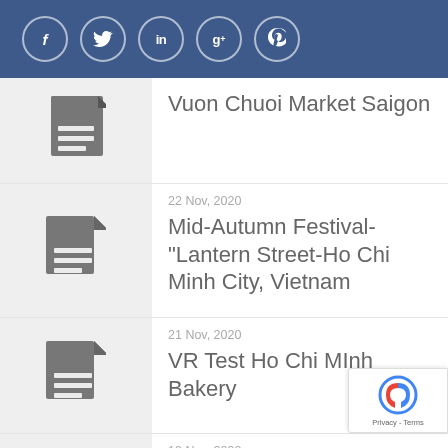Social media icons: Facebook, Twitter, LinkedIn, Google+, Pinterest
Vuon Chuoi Market Saigon
22 Nov, 2020 — Mid-Autumn Festival-"Lantern Street-Ho Chi Minh City, Vietnam
21 Nov, 2020 — VR Test Ho Chi MInh Bakery
19 Nov, 2020